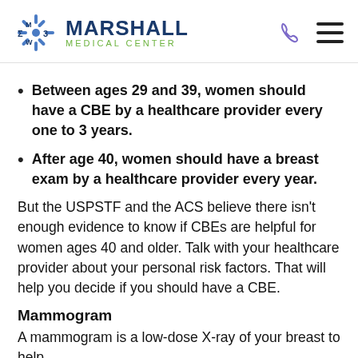Marshall Medical Center
Between ages 29 and 39, women should have a CBE by a healthcare provider every one to 3 years.
After age 40, women should have a breast exam by a healthcare provider every year.
But the USPSTF and the ACS believe there isn't enough evidence to know if CBEs are helpful for women ages 40 and older. Talk with your healthcare provider about your personal risk factors. That will help you decide if you should have a CBE.
Mammogram
A mammogram is a low-dose X-ray of your breast to help...